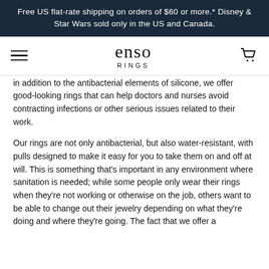Free US flat-rate shipping on orders of $60 or more.* Disney & Star Wars sold only in the US and Canada.
[Figure (logo): Enso Rings logo with hamburger menu icon and shopping cart icon in navigation bar]
in addition to the antibacterial elements of silicone, we offer good-looking rings that can help doctors and nurses avoid contracting infections or other serious issues related to their work.
Our rings are not only antibacterial, but also water-resistant, with pulls designed to make it easy for you to take them on and off at will. This is something that's important in any environment where sanitation is needed; while some people only wear their rings when they're not working or otherwise on the job, others want to be able to change out their jewelry depending on what they're doing and where they're going. The fact that we offer a